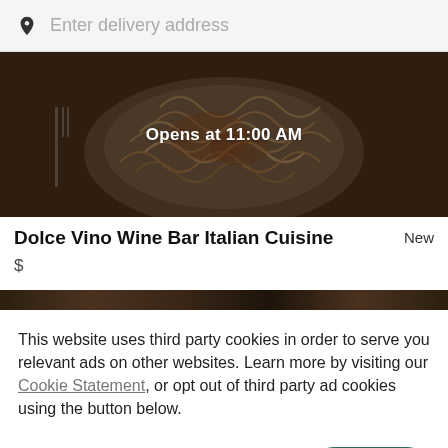Enter delivery address
[Figure (photo): Food photo showing pasta/spaghetti dish with overlay text 'Opens at 11:00 AM']
Dolce Vino Wine Bar Italian Cuisine
New
$
[Figure (photo): Dark food image strip]
This website uses third party cookies in order to serve you relevant ads on other websites. Learn more by visiting our Cookie Statement, or opt out of third party ad cookies using the button below.
OPT OUT
GOT IT